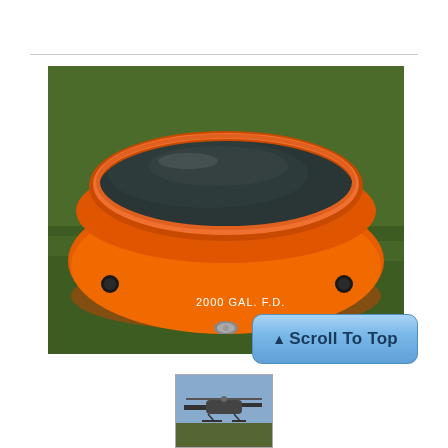[Figure (photo): Large orange inflatable water storage tank (2000 GAL. F.D.) filled with dark water, sitting on green grass. The tank is round/disc-shaped with orange sides and a dark water surface visible from above.]
[Figure (photo): Small thumbnail image showing a helicopter or similar scene.]
Scroll To Top